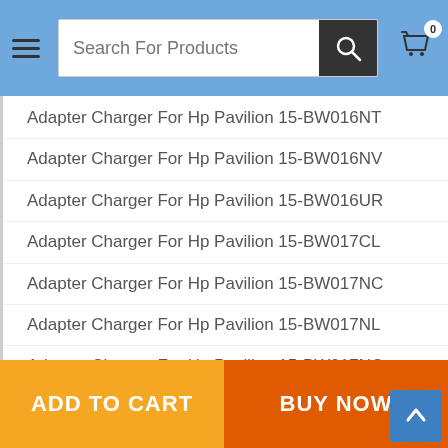Search For Products
Adapter Charger For Hp Pavilion 15-BW016NT
Adapter Charger For Hp Pavilion 15-BW016NV
Adapter Charger For Hp Pavilion 15-BW016UR
Adapter Charger For Hp Pavilion 15-BW017CL
Adapter Charger For Hp Pavilion 15-BW017NC
Adapter Charger For Hp Pavilion 15-BW017NL
Adapter Charger For Hp Pavilion 15-BW017NO
Adapter Charger For Hp Pavilion 15-BW017NS
Adapter Charger For Hp Pavilion 15-BW017NV
Adapter Charger For Hp Pavilion 15-BW017UR
Adapter Charger For Hp Pavilion 15-BW018CA
Adapter Charger For Hp Pavilion 15-BW018CL
Adapter Charger For Hp Pavilion 15-BW018CY
Adapter Charger For Hp Pavilion 15-BW018NB
Adapter Charger For Hp Pavilion 15-BW018NL
ADD TO CART | BUY NOW